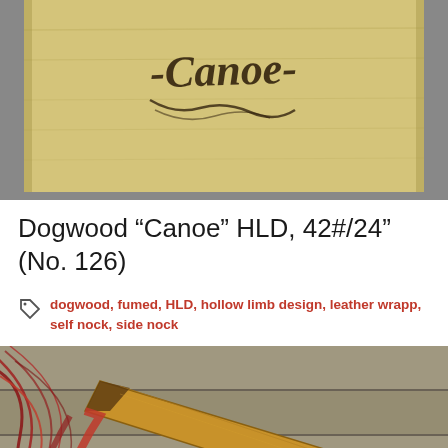[Figure (photo): Close-up photo of a bamboo/wooden bow with the word 'Canoe' burned into the wood in a stylized script, on a grey carpet background.]
Dogwood “Canoe” HLD, 42#/24” (No. 126)
dogwood, fumed, HLD, hollow limb design, leather wrapp, self nock, side nock
[Figure (photo): Close-up photo of the nock/tip of a wooden bow with red string/sinew wrapping, resting on a wooden surface. The bow limb tip is golden-brown wood with dark nock.]